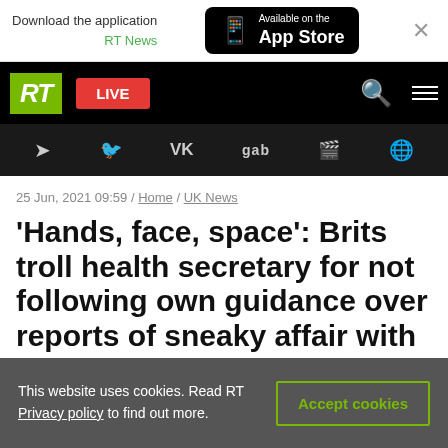[Figure (screenshot): App Store download banner with RT News branding and App Store button]
[Figure (screenshot): RT news website navigation bar with RT logo, LIVE button, search and menu icons]
[Figure (screenshot): Social media icons bar: Telegram, Twitter, VK, Gab, Rumble, and globe]
25 Jun, 2021 09:59 / Home / UK News
'Hands, face, space': Brits troll health secretary for not following own guidance over reports of sneaky affair with aide
This website uses cookies. Read RT Privacy policy to find out more.